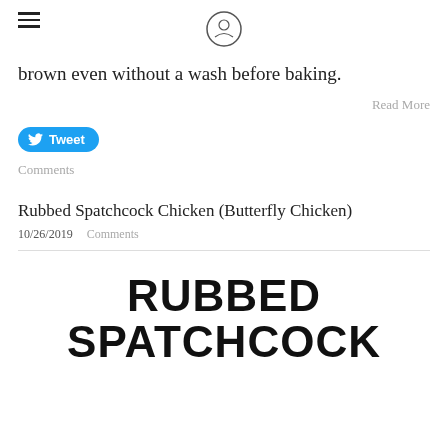[hamburger menu icon] [logo circle icon]
brown even without a wash before baking.
Read More
Tweet
Comments
Rubbed Spatchcock Chicken (Butterfly Chicken)
10/26/2019  Comments
RUBBED SPATCHCOCK